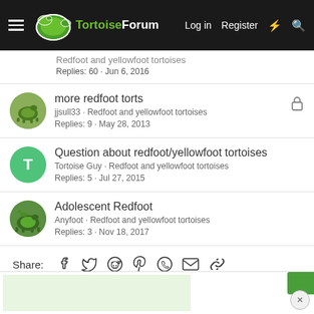TortoiseForum — Log in   Register
Redfoot and yellowfoot tortoises · Replies: 60 · Jun 6, 2016
more redfoot torts
jjsull33 · Redfoot and yellowfoot tortoises
Replies: 9 · May 28, 2013
Question about redfoot/yellowfoot tortoises
Tortoise Guy · Redfoot and yellowfoot tortoises
Replies: 5 · Jul 27, 2015
Adolescent Redfoot
Anyfoot · Redfoot and yellowfoot tortoises
Replies: 3 · Nov 18, 2017
Share: